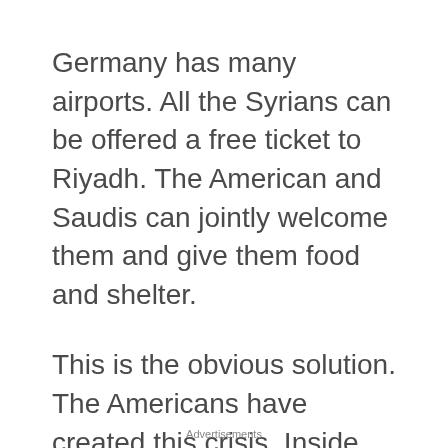Germany has many airports. All the Syrians can be offered a free ticket to Riyadh. The American and Saudis can jointly welcome them and give them food and shelter.
This is the obvious solution. The Americans have created this crisis. Inside the Saudi kingdom the Syrians will be taken care of by their own brethren, who share their culture and faith.  So they jointly can bring an end to the civil war in their own camp, and not export the present carnage.
Advertisements